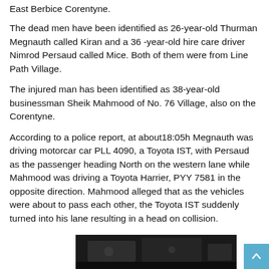East Berbice Corentyne.
The dead men have been identified as 26-year-old Thurman Megnauth called Kiran and a 36 -year-old hire care driver Nimrod Persaud called Mice. Both of them were from Line Path Village.
The injured man has been identified as 38-year-old businessman Sheik Mahmood of No. 76 Village, also on the Corentyne.
According to a police report, at about18:05h Megnauth was driving motorcar car PLL 4090, a Toyota IST, with Persaud as the passenger heading North on the western lane while Mahmood was driving a Toyota Harrier, PYY 7581 in the opposite direction. Mahmood alleged that as the vehicles were about to pass each other, the Toyota IST suddenly turned into his lane resulting in a head on collision.
[Figure (photo): Dark photograph showing a vehicle scene at night, partially visible at the bottom of the page.]